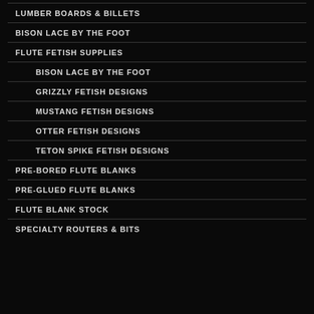LUMBER BOARDS & BILLETS
BISON LACE BY THE FOOT
FLUTE FETISH SUPPLIES
BISON LACE BY THE FOOT
GRIZZLY FETISH DESIGNS
MUSTANG FETISH DESIGNS
OTTER FETISH DESIGNS
TETON SPIKE FETISH DESIGNS
PRE-BORED FLUTE BLANKS
PRE-GLUED FLUTE BLANKS
FLUTE BLANK STOCK
SPECIALTY ROUTERS & BITS